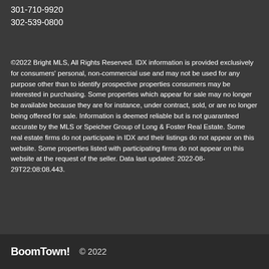301-710-9920
302-539-0800
©2022 Bright MLS, All Rights Reserved. IDX information is provided exclusively for consumers' personal, non-commercial use and may not be used for any purpose other than to identify prospective properties consumers may be interested in purchasing. Some properties which appear for sale may no longer be available because they are for instance, under contract, sold, or are no longer being offered for sale. Information is deemed reliable but is not guaranteed accurate by the MLS or Speicher Group of Long & Foster Real Estate. Some real estate firms do not participate in IDX and their listings do not appear on this website. Some properties listed with participating firms do not appear on this website at the request of the seller. Data last updated: 2022-08-29T22:08:08.443.
BoomTown! © 2022